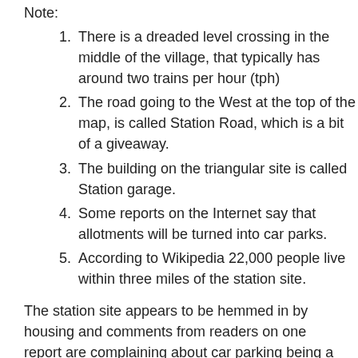Note:
There is a dreaded level crossing in the middle of the village, that typically has around two trains per hour (tph)
The road going to the West at the top of the map, is called Station Road, which is a bit of a giveaway.
The building on the triangular site is called Station garage.
Some reports on the Internet say that allotments will be turned into car parks.
According to Wikipedia 22,000 people live within three miles of the station site.
The station site appears to be hemmed in by housing and comments from readers on one report are complaining about car parking being a problem an definitely don't want the station.